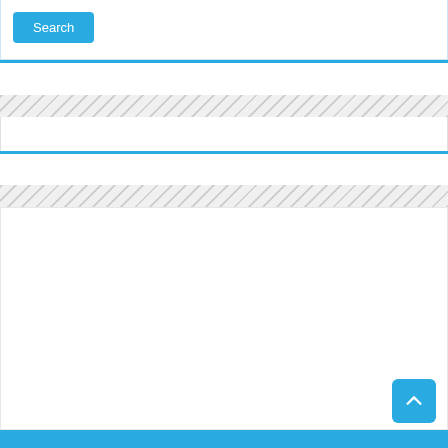[Figure (screenshot): Web page interface showing a Search button, blue divider lines, hatched stripe separators, a large white content area, and a back-to-top button in the bottom right corner]
Search